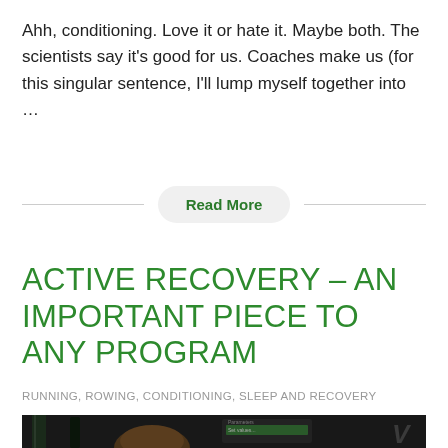Ahh, conditioning. Love it or hate it. Maybe both. The scientists say it's good for us. Coaches make us (for this singular sentence, I'll lump myself together into …
Read More
ACTIVE RECOVERY – AN IMPORTANT PIECE TO ANY PROGRAM
RUNNING, ROWING, CONDITIONING, SLEEP AND RECOVERY
[Figure (photo): Dark photo of a person's head from above, with a screen/monitor visible in the background showing a green bar, and a letter V in the upper right corner]